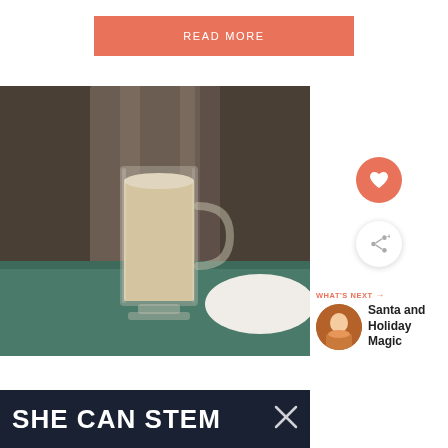READ MORE
[Figure (photo): Glass mug filled with a creamy beige drink, placed on a teal/green wooden surface against a dark draped fabric background. A white plate is partially visible on the right.]
[Figure (other): Heart (favorite) icon button - salmon/coral circle with white heart]
[Figure (other): Share icon button - white circle with share/network icon]
WHAT'S NEXT → Santa and Holiday Magic
SHE CAN STEM